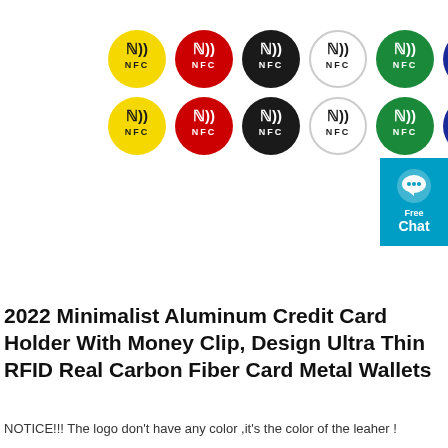[Figure (illustration): Two rows of six NFC sticker circles in yellow, red, black, white, green, and navy/dark blue colors. Each circle shows the NFC wireless symbol and the text NFC.]
[Figure (illustration): Cyan/blue chat button widget on the right side showing a speech bubble icon, 'Free' text, and 'Chat' text.]
2022 Minimalist Aluminum Credit Card Holder With Money Clip, Design Ultra Thin RFID Real Carbon Fiber Card Metal Wallets
NOTICE!!! The logo don't have any color ,it's the color of the leaher !